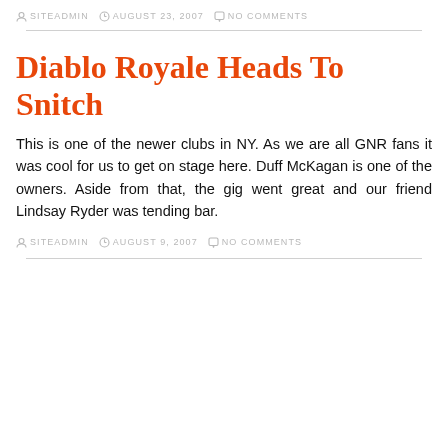SITEADMIN   AUGUST 23, 2007   NO COMMENTS
Diablo Royale Heads To Snitch
This is one of the newer clubs in NY. As we are all GNR fans it was cool for us to get on stage here. Duff McKagan is one of the owners. Aside from that, the gig went great and our friend Lindsay Ryder was tending bar.
SITEADMIN   AUGUST 9, 2007   NO COMMENTS